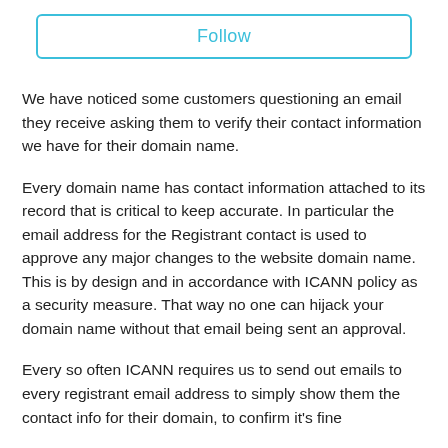[Figure (other): Follow button — a rectangular button with cyan/teal border and 'Follow' text in cyan]
We have noticed some customers questioning an email they receive asking them to verify their contact information we have for their domain name.
Every domain name has contact information attached to its record that is critical to keep accurate. In particular the email address for the Registrant contact is used to approve any major changes to the website domain name. This is by design and in accordance with ICANN policy as a security measure. That way no one can hijack your domain name without that email being sent an approval.
Every so often ICANN requires us to send out emails to every registrant email address to simply show them the contact info for their domain, to confirm it's fine…